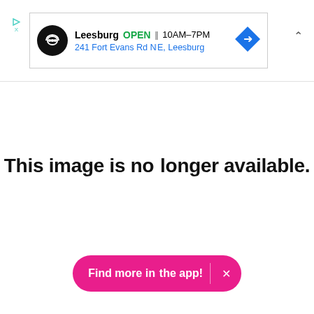[Figure (screenshot): Advertisement banner showing a store location: Leesburg, OPEN, 10AM-7PM, 241 Fort Evans Rd NE, Leesburg, with a direction icon]
This image is no longer available.
[Figure (screenshot): Pink rounded button reading 'Find more in the app!' with an X close button on the right]